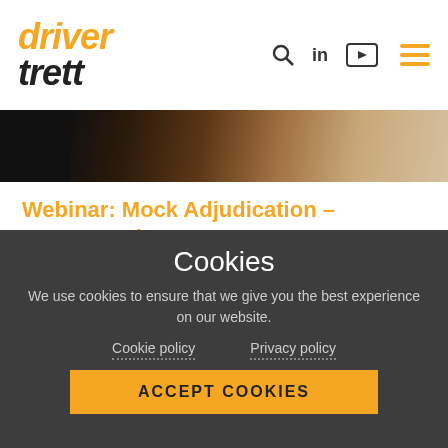driver trett
[Figure (photo): Dark background photo strip showing a close-up of hands or face, partially visible]
Webinar: Mock Adjudication - Payment Dispute
Covering key topics such as jurisdictional challenges, “smash and grab” adjudications and enforcement - this webinar will be of interest to all who wo...
Cookies
We use cookies to ensure that we give you the best experience on our website.
Cookie policy     Privacy policy
ACCEPT COOKIES